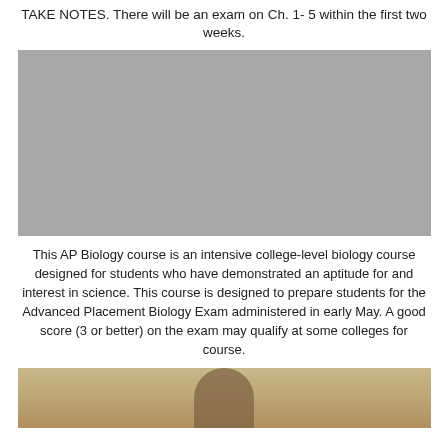TAKE NOTES. There will be an exam on Ch. 1- 5 within the first two weeks.
[Figure (photo): Gray placeholder image, likely a photograph related to biology or course content]
This AP Biology course is an intensive college-level biology course designed for students who have demonstrated an aptitude for and interest in science. This course is designed to prepare students for the Advanced Placement Biology Exam administered in early May. A good score (3 or better) on the exam may qualify at some colleges for course.
[Figure (photo): Partial photo showing a person wearing a hat with a badge or emblem, appears to be at bottom of page]